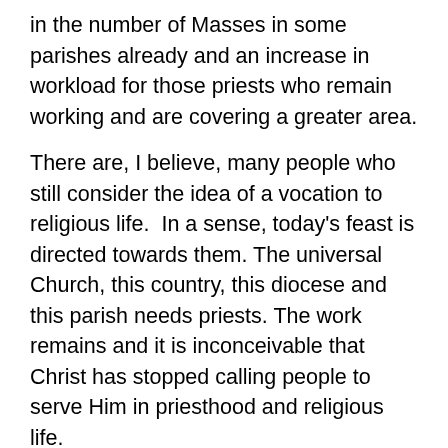in the number of Masses in some parishes already and an increase in workload for those priests who remain working and are covering a greater area.
There are, I believe, many people who still consider the idea of a vocation to religious life.  In a sense, today's feast is directed towards them. The universal Church, this country, this diocese and this parish needs priests. The work remains and it is inconceivable that Christ has stopped calling people to serve Him in priesthood and religious life.
There is an obligation on all of us to support and encourage those who may be considering a life as a priest, brother or sister."
Bishop Tom Deenihan
Prayer for those considering a vocation – Pope